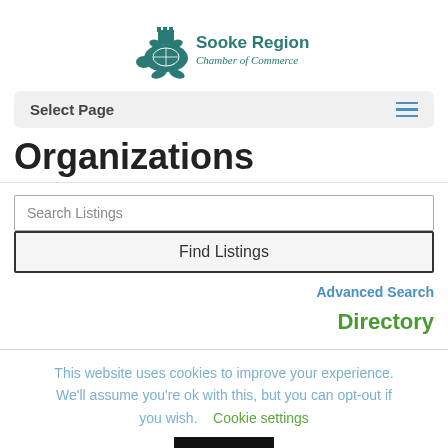[Figure (logo): Sooke Region Chamber of Commerce logo with turtle illustration and teal text]
Select Page
Organizations
Search Listings
Find Listings
Advanced Search
Directory
This website uses cookies to improve your experience. We'll assume you're ok with this, but you can opt-out if you wish.
Cookie settings
ACCEPT